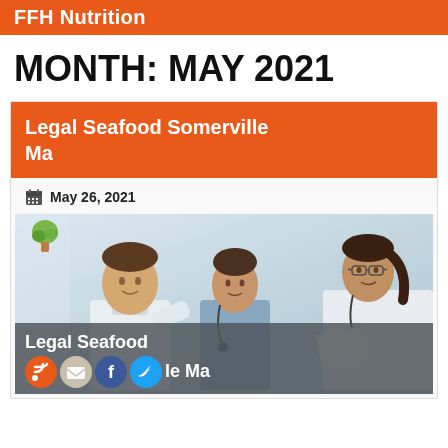FFH Nutrition
MONTH: MAY 2021
Legal Seafood Somerville Ma
May 26, 2021
[Figure (photo): Three medical professionals (two women and one man) looking at documents together; text overlay reads 'Legal Seafood Somerville Ma' with social media icons (RSS, email, Facebook, Twitter)]